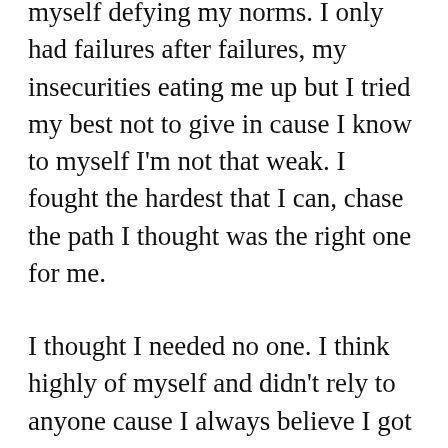myself defying my norms. I only had failures after failures, my insecurities eating me up but I tried my best not to give in cause I know to myself I'm not that weak. I fought the hardest that I can, chase the path I thought was the right one for me.
I thought I needed no one. I think highly of myself and didn't rely to anyone cause I always believe I got my own back. I put too much pressure on myself that at this certain age, I should already achieved this and that etc. that's why when my plans didn't worked out the way I wanted it to be I